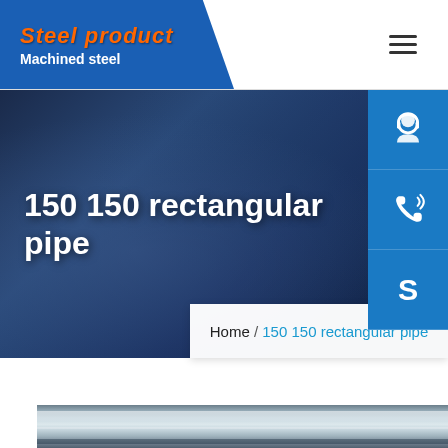Steel product / Machined steel
150 150 rectangular pipe
Home / 150 150 rectangular pipe
[Figure (photo): Steel plates or rectangular pipes stacked, showing metallic surface with reflective sheen]